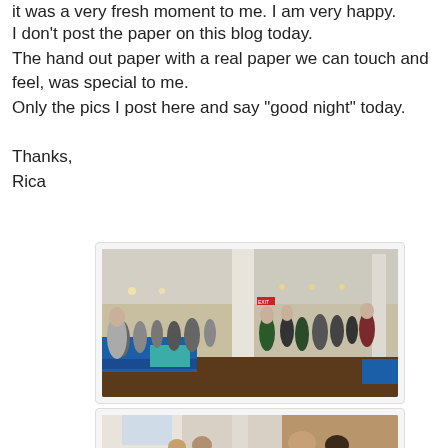it was a very fresh moment to me. I am very happy.
I don't post the paper on this blog today.
The hand out paper with a real paper we can touch and feel, was special to me.
Only the pics I post here and say "good night" today.

Thanks,
Rica
[Figure (photo): Indoor event/fair scene in a large hall with white columns, showing groups of people browsing tables with displays. Two panels side by side showing different views of the same event.]
[Figure (photo): Partial view of another photo showing people at an indoor event, cropped at bottom of page.]